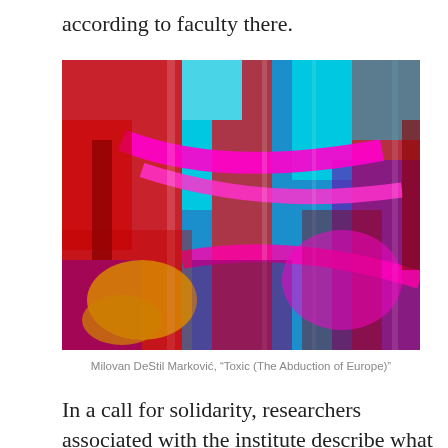according to faculty there.
[Figure (photo): A highly stylized, psychedelic image with bold colors — red, cyan, magenta, yellow, and purple — depicting abstract forms reminiscent of an industrial or urban scene, heavily color-filtered.]
Milovan DeStil Marković, “Toxic (The Abduction of Europe)”
In a call for solidarity, researchers associated with the institute describe what has been happening: